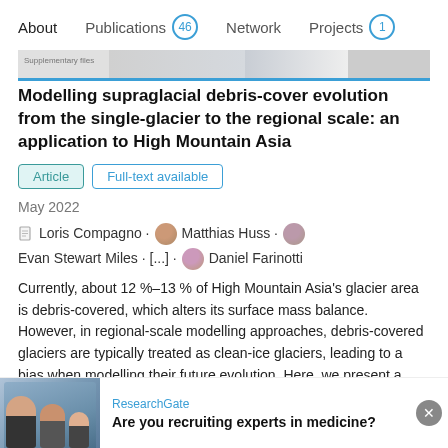About  Publications 46  Network  Projects 1
[Figure (screenshot): Thumbnail strip of a publication preview image with blue underline tab indicator]
Modelling supraglacial debris-cover evolution from the single-glacier to the regional scale: an application to High Mountain Asia
Article  Full-text available
May 2022
Loris Compagno · Matthias Huss · Evan Stewart Miles · [...] · Daniel Farinotti
Currently, about 12 %–13 % of High Mountain Asia's glacier area is debris-covered, which alters its surface mass balance. However, in regional-scale modelling approaches, debris-covered glaciers are typically treated as clean-ice glaciers, leading to a bias when modelling their future evolution. Here, we present a new approach for modelling debris...
View
Advertisement
ResearchGate
Are you recruiting experts in medicine?